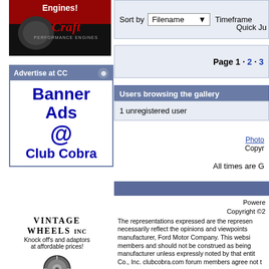[Figure (photo): Craft Performance Engines advertisement with logo on dark background]
[Figure (illustration): Advertise at CC banner with text 'Banner Ads @ Club Cobra' in blue]
[Figure (illustration): Vintage Wheels Inc advertisement with wheel image, text about knock offs and adaptors at affordable prices]
Sort by  Filename   Timeframe
Quick Ju
Page 1 · 2 · 3
Users browsing the gallery
1 unregistered user
Photo Copyright
All times are G
Powered Copyright ©2 The representations expressed are the representations necessarily reflect the opinions and viewpoints manufacturer, Ford Motor Company. This websi members and should not be construed as being manufacturer unless expressly noted by that entit Co., Inc. clubcobra.com forum members agree not t